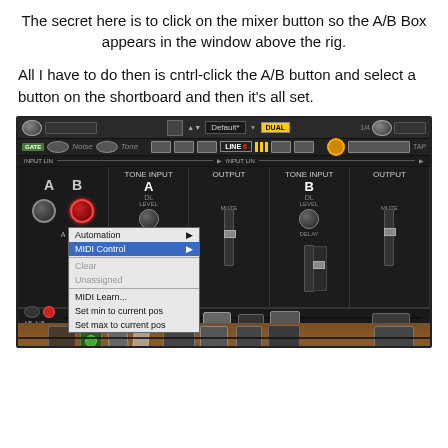The secret here is to click on the mixer button so the A/B Box appears in the window above the rig.
All I have to do then is cntrl-click the A/B button and select a button on the shortboard and then it's all set.
[Figure (screenshot): Screenshot of Line 6 guitar amp simulation software showing A/B mixer with a context menu open displaying options: Automation, MIDI Control (highlighted), then Clear, Unassigned, MIDI Learn..., Set min to current pos, Set max to current pos. The mixer shows channels A and B with faders and knobs. The lower portion shows a virtual pedalboard on a wooden floor with various effect pedals.]